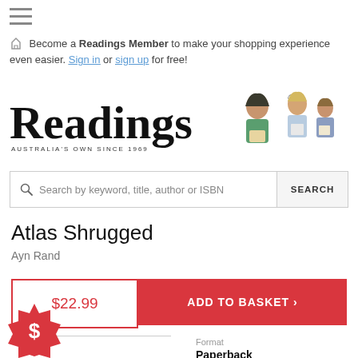[Figure (screenshot): Hamburger/list menu icon at top left]
Become a Readings Member to make your shopping experience even easier. Sign in or sign up for free!
[Figure (logo): Readings bookstore logo with illustrated readers and text 'Readings AUSTRALIA'S OWN SINCE 1969']
[Figure (screenshot): Search bar with magnifying glass icon, placeholder text 'Search by keyword, title, author or ISBN' and SEARCH button]
Atlas Shrugged
Ayn Rand
$22.99
ADD TO BASKET ›
Format
Paperback
[Figure (illustration): Red badge/starburst with dollar sign symbol]